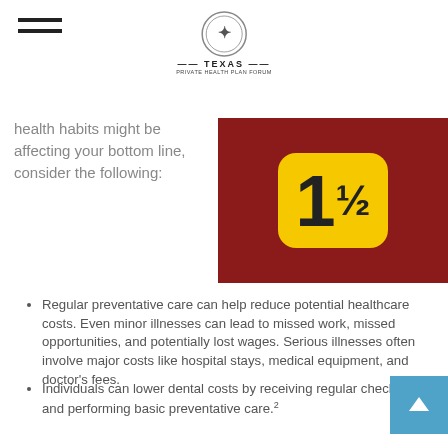Texas Private Health Plan Forum logo header
[Figure (photo): Red background with a yellow price tag showing the number 1 (partially visible)]
health habits might be affecting your bottom line, consider the following:
Regular preventative care can help reduce potential healthcare costs. Even minor illnesses can lead to missed work, missed opportunities, and potentially lost wages. Serious illnesses often involve major costs like hospital stays, medical equipment, and doctor's fees.
Individuals can lower dental costs by receiving regular checkups and performing basic preventative care.²
When poor health persists over time, lost earnings may make it harder to save for retirement.
Some habits that lead to poor health can be expensive in themselves. Smoking is a classic example. Smokers also pay higher premiums for health care and life insurance, and their houses, cars, and other possessions tend to devalue at a quicker rate because of damage from smoking. Total